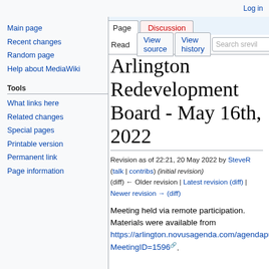Log in
Page | Discussion
Read | View source | View history | Search srevil
Main page
Recent changes
Random page
Help about MediaWiki
Tools
What links here
Related changes
Special pages
Printable version
Permanent link
Page information
Arlington Redevelopment Board - May 16th, 2022
Revision as of 22:21, 20 May 2022 by SteveR (talk | contribs) (initial revision) (diff) ← Older revision | Latest revision (diff) | Newer revision → (diff)
Meeting held via remote participation. Materials were available from https://arlington.novusagenda.com/agendapublic/DisplayAgendaPDF.ashx?MeetingID=1596.